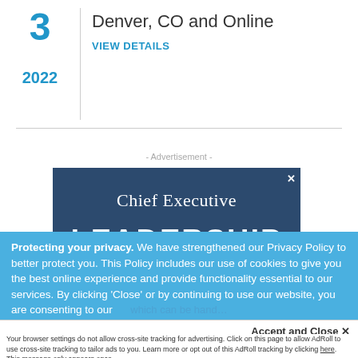3
2022
Denver, CO and Online
VIEW DETAILS
- Advertisement -
[Figure (screenshot): Chief Executive LEADERSHIP advertisement banner with dark blue background]
Protecting your privacy. We have strengthened our Privacy Policy to better protect you. This Policy includes our use of cookies to give you the best online experience and provide functionality essential to our services. By clicking 'Close' or by continuing to use our website, you are consenting to our
Accept and Close ✕
Your browser settings do not allow cross-site tracking for advertising. Click on this page to allow AdRoll to use cross-site tracking to tailor ads to you. Learn more or opt out of this AdRoll tracking by clicking here. This message only appears once.